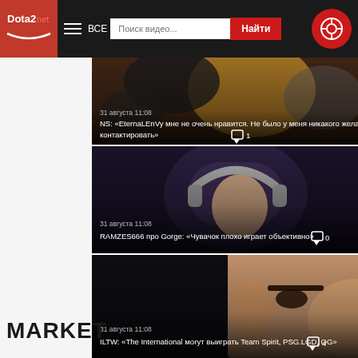Dota2.net — ВСЕ — Поиск видео... — Найти
[Figure (photo): Esports event crowd scene, person in yellow shirt visible. Overlay text: 31 августа 11:08 / NS: «EternaLEnVy мне не очень нравится. Не было у меня никакого желания контактировать» / comment icon / 1]
[Figure (photo): Gaming player with headphones in dark scene. Overlay text: 31 августа 11:08 / RAMZES666 про Gorge: «Чувачок плохо играет объективно» / comment icon / 0]
[Figure (photo): Close-up face of esports player. Overlay text: 31 августа 11:08 / ILTW: «The International могут выиграть Team Spirit, PSG.LGD, OG» / comment icon / 4]
MARKET